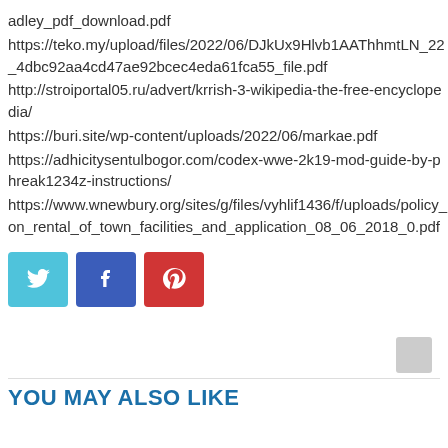adley_pdf_download.pdf
https://teko.my/upload/files/2022/06/DJkUx9Hlvb1AAThhmtLN_22_4dbc92aa4cd47ae92bcec4eda61fca55_file.pdf
http://stroiportal05.ru/advert/krrish-3-wikipedia-the-free-encyclopedia/
https://buri.site/wp-content/uploads/2022/06/markae.pdf
https://adhicitysentulbogor.com/codex-wwe-2k19-mod-guide-by-phreak1234z-instructions/
https://www.wnewbury.org/sites/g/files/vyhlif1436/f/uploads/policy_on_rental_of_town_facilities_and_application_08_06_2018_0.pdf
[Figure (infographic): Three social sharing buttons: Twitter (blue), Facebook (dark blue), Pinterest (red), each with corresponding icon]
YOU MAY ALSO LIKE